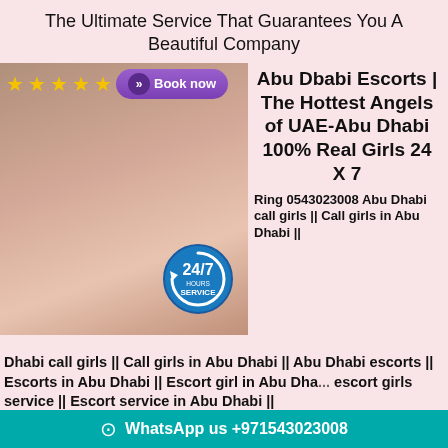The Ultimate Service That Guarantees You A Beautiful Company
[Figure (photo): Young woman smiling, lying on a floral bedspread, with star ratings and Book now button overlay, and a 24/7 Hours Service badge]
Abu Dbabi Escorts | The Hottest Angels of UAE-Abu Dhabi 100% Real Girls 24 X 7
Ring 0543023008 Abu Dhabi call girls || Call girls in Abu Dhabi || Abu Dhabi escorts || Escorts in Abu Dhabi || Escort girl in Abu Dha... escort girls service || Escort service in Abu Dhabi ||
WhatsApp us +971543023008